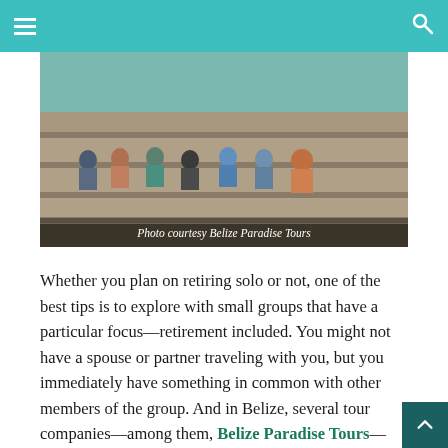Navigation bar with menu and search icons
[Figure (photo): Group of people sitting on stone steps, likely at an archaeological site in Belize. Caption reads: Photo courtesy Belize Paradise Tours]
Photo courtesy Belize Paradise Tours
Whether you plan on retiring solo or not, one of the best tips is to explore with small groups that have a particular focus—retirement included. You might not have a spouse or partner traveling with you, but you immediately have something in common with other members of the group. And in Belize, several tour companies—among them, Belize Paradise Tours—have long catered to travelers actively seeking retirement, relocation, or just being a snowbird. Join one of their small groups in the most